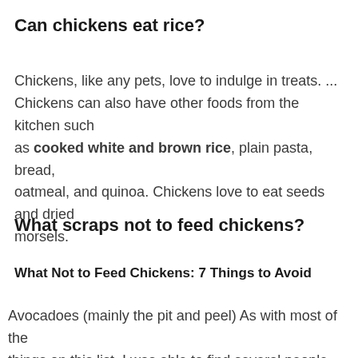Can chickens eat rice?
Chickens, like any pets, love to indulge in treats. ... Chickens can also have other foods from the kitchen such as cooked white and brown rice, plain pasta, bread, oatmeal, and quinoa. Chickens love to eat seeds and dried morsels.
What scraps not to feed chickens?
What Not to Feed Chickens: 7 Things to Avoid
Avocadoes (mainly the pit and peel) As with most of the things on this list, I was able to find several people who report feeding avocado to their flock without problem